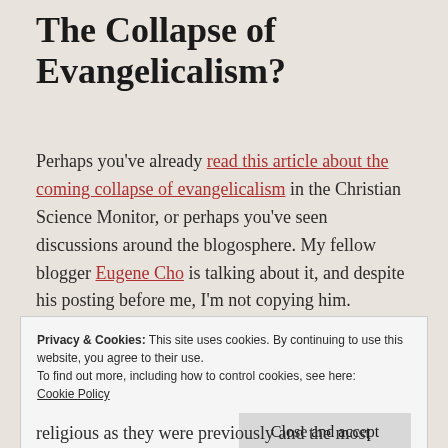The Collapse of Evangelicalism?
Perhaps you've already read this article about the coming collapse of evangelicalism in the Christian Science Monitor, or perhaps you've seen discussions around the blogosphere. My fellow blogger Eugene Cho is talking about it, and despite his posting before me, I'm not copying him.
Privacy & Cookies: This site uses cookies. By continuing to use this website, you agree to their use.
To find out more, including how to control cookies, see here:
Cookie Policy
Close and accept
religious as they were previously and the most